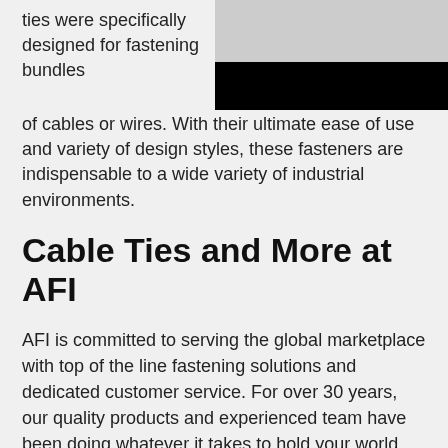ties were specifically designed for fastening bundles of cables or wires. With their ultimate ease of use and variety of design styles, these fasteners are indispensable to a wide variety of industrial environments.
[Figure (photo): Photo collage of cable ties and fastening products with a black banner below]
Cable Ties and More at AFI
AFI is committed to serving the global marketplace with top of the line fastening solutions and dedicated customer service. For over 30 years, our quality products and experienced team have been doing whatever it takes to hold your world together.